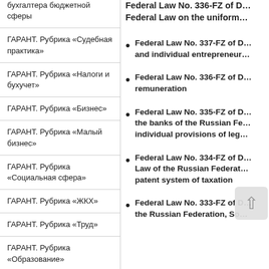бухгалтера бюджетной сферы
ГАРАНТ. Рубрика «Судебная практика»
ГАРАНТ. Рубрика «Налоги и бухучет»
ГАРАНТ. Рубрика «Бизнес»
ГАРАНТ. Рубрика «Малый бизнес»
ГАРАНТ. Рубрика «Социальная сфера»
ГАРАНТ. Рубрика «ЖКХ»
ГАРАНТ. Рубрика «Труд»
ГАРАНТ. Рубрика «Образование»
ГАРАНТ. Рубрика «Транспорт»
ГАРАНТ. Рубрика «Об…
Federal Law No. 336-FZ of D… Federal Law on the uniform…
Federal Law No. 337-FZ of D… and individual entrepreneur…
Federal Law No. 336-FZ of D… remuneration
Federal Law No. 335-FZ of D… the banks of the Russian Fe… individual provisions of leg…
Federal Law No. 334-FZ of D… Law of the Russian Federat… patent system of taxation
Federal Law No. 333-FZ of D… the Russian Federation, So…